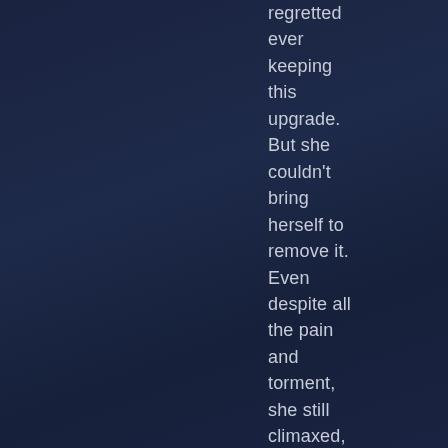regretted ever keeping this upgrade. But she couldn't bring herself to remove it. Even despite all the pain and torment, she still climaxed, and that felt good in her. She needed